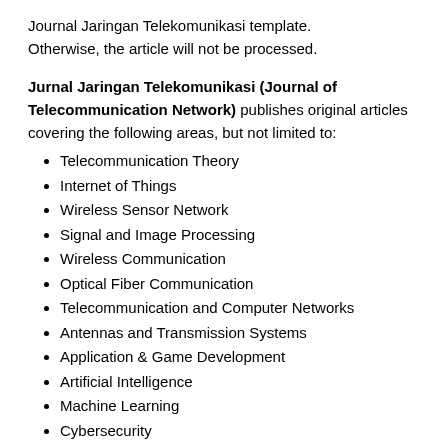Journal Jaringan Telekomunikasi template. Otherwise, the article will not be processed.
Jurnal Jaringan Telekomunikasi (Journal of Telecommunication Network) publishes original articles covering the following areas, but not limited to:
Telecommunication Theory
Internet of Things
Wireless Sensor Network
Signal and Image Processing
Wireless Communication
Optical Fiber Communication
Telecommunication and Computer Networks
Antennas and Transmission Systems
Application & Game Development
Artificial Intelligence
Machine Learning
Cybersecurity
Big Data